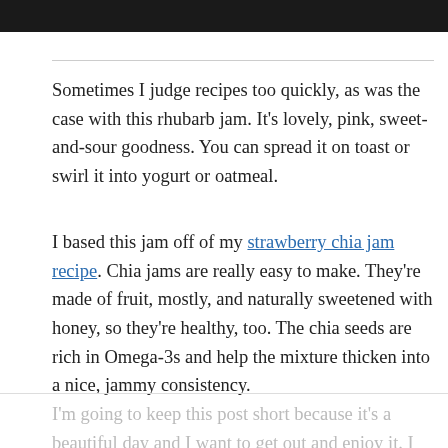[Figure (photo): Dark/black image bar at the top of the page]
Sometimes I judge recipes too quickly, as was the case with this rhubarb jam. It’s lovely, pink, sweet-and-sour goodness. You can spread it on toast or swirl it into yogurt or oatmeal.
I based this jam off of my strawberry chia jam recipe. Chia jams are really easy to make. They’re made of fruit, mostly, and naturally sweetened with honey, so they’re healthy, too. The chia seeds are rich in Omega-3s and help the mixture thicken into a nice, jammy consistency.
I’m going to keep this post short because it’s a beautiful day and I want to get out and enjoy it. I hope you’ll get a